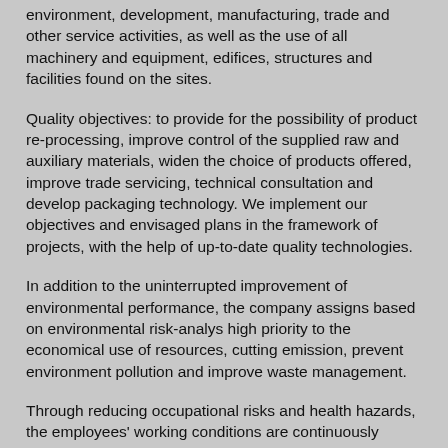environment, development, manufacturing, trade and other service activities, as well as the use of all machinery and equipment, edifices, structures and facilities found on the sites.
Quality objectives: to provide for the possibility of product re-processing, improve control of the supplied raw and auxiliary materials, widen the choice of products offered, improve trade servicing, technical consultation and develop packaging technology. We implement our objectives and envisaged plans in the framework of projects, with the help of up-to-date quality technologies.
In addition to the uninterrupted improvement of environmental performance, the company assigns based on environmental risk-analys high priority to the economical use of resources, cutting emission, prevent environment pollution and improve waste management.
Through reducing occupational risks and health hazards, the employees' working conditions are continuously improved. Employees are provided with the appropriate protective devices as well as the consultation and